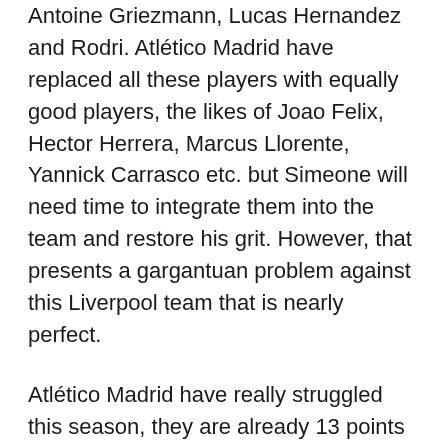Antoine Griezmann, Lucas Hernandez and Rodri. Atlético Madrid have replaced all these players with equally good players, the likes of Joao Felix, Hector Herrera, Marcus Llorente, Yannick Carrasco etc. but Simeone will need time to integrate them into the team and restore his grit. However, that presents a gargantuan problem against this Liverpool team that is nearly perfect.
Atlético Madrid have really struggled this season, they are already 13 points behind arch rivals Real Madrid who sit top of the La liga log. Atlético sit in 4th position behind Getafe.
Simeone's side have won just 1 of their last 7 games in all competitions, which was a narrow win